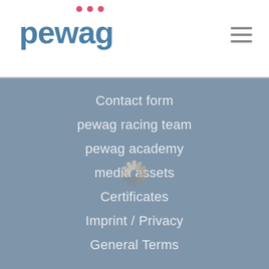[Figure (logo): pewag logo with pink dots above and blue text]
[Figure (other): hamburger menu icon (three horizontal lines)]
Contact form
pewag racing team
pewag academy
media assets
Certificates
Imprint / Privacy
General Terms